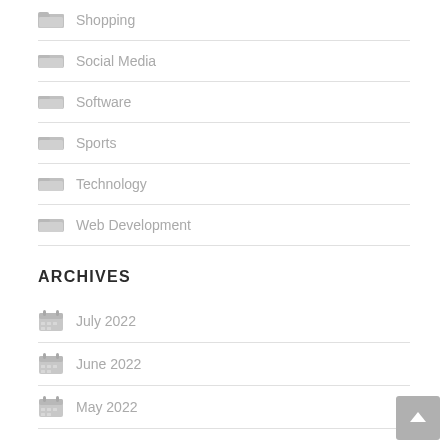Shopping
Social Media
Software
Sports
Technology
Web Development
ARCHIVES
July 2022
June 2022
May 2022